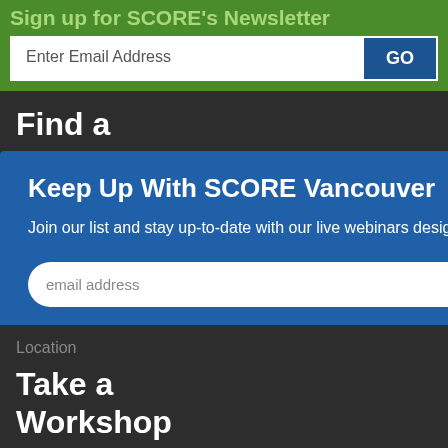Sign up for SCORE's Newsletter
Enter Email Address
Find a
Mentor
Keep Up With SCORE Vancouver
Join our list and stay up-to-date with our live webinars designed to help you start and grow a successful business.
email address
SUBMIT
Location
Take a
Workshop